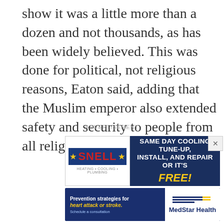show it was a little more than a dozen and not thousands, as has been widely believed. This was done for political, not religious reasons, Eaton said, adding that the Muslim emperor also extended safety and security to people from all religions.
ADVERTISEMENT
[Figure (screenshot): Snell Heating Cooling Plumbing advertisement: logo on left with blue background and yellow stars, red SNELL text; right side dark navy background with white text 'SAME DAY COOLING TUNE-UP, INSTALL, AND REPAIR OR IT'S FREE!' in yellow italic. Close button with X on far right.]
[Figure (screenshot): MedStar Health advertisement: dark blue background on left with white text 'Prevention strategies for heart attack or stroke. Schedule a consultation' with yellow italic highlight; MedStar Health logo on white background on right.]